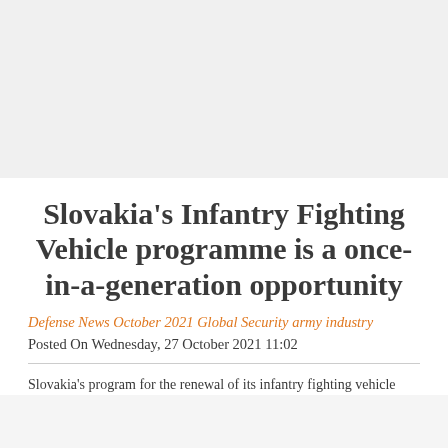[Figure (photo): Top image area — gray placeholder representing a photograph]
Slovakia's Infantry Fighting Vehicle programme is a once-in-a-generation opportunity
Defense News October 2021 Global Security army industry
Posted On Wednesday, 27 October 2021 11:02
Slovakia's program for the renewal of its infantry fighting vehicle